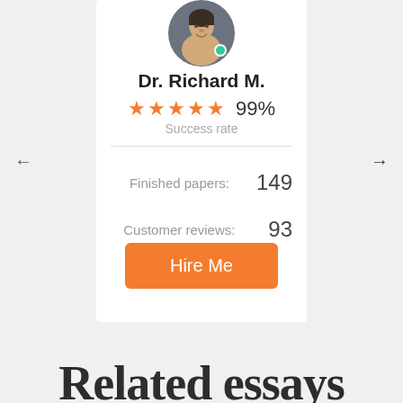[Figure (photo): Profile photo of Dr. Richard M., a man shown from shoulders up, with a green online indicator dot]
Dr. Richard M.
★★★★★ 99% Success rate
|  |  |
| --- | --- |
| Finished papers: | 149 |
| Customer reviews: | 93 |
Hire Me
Related essays